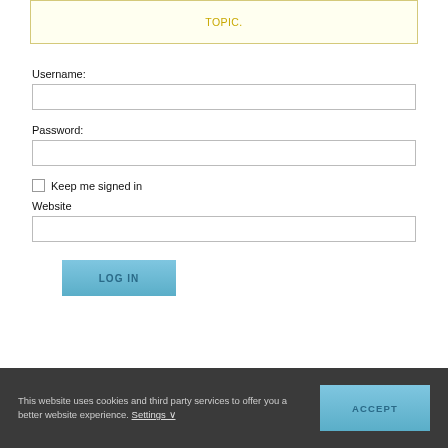TOPIC.
Username:
Password:
Keep me signed in
Website
[Figure (screenshot): LOG IN button with light blue gradient background]
This website uses cookies and third party services to offer you a better website experience. Settings ∨
ACCEPT